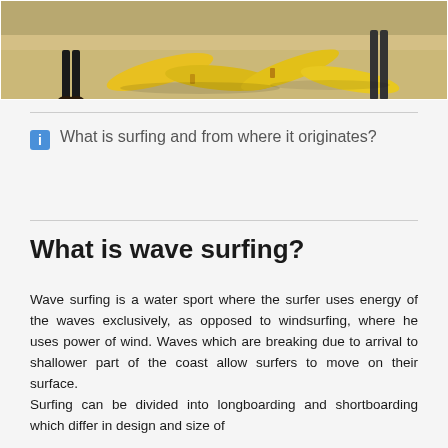[Figure (photo): Beach scene with yellow surfboards on sand, people standing nearby]
What is surfing and from where it originates?
What is wave surfing?
Wave surfing is a water sport where the surfer uses energy of the waves exclusively, as opposed to windsurfing, where he uses power of wind. Waves which are breaking due to arrival to shallower part of the coast allow surfers to move on their surface.
Surfing can be divided into longboarding and shortboarding which differ in design and size of